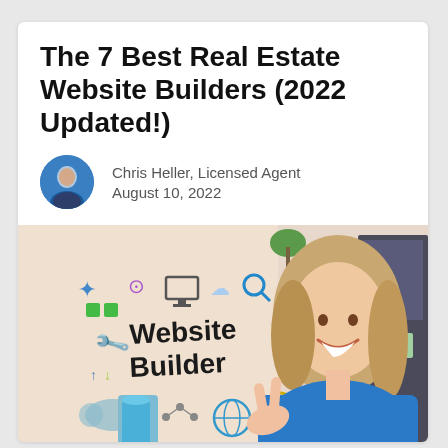The 7 Best Real Estate Website Builders (2022 Updated!)
Chris Heller, Licensed Agent
August 10, 2022
[Figure (photo): A smiling young woman in a blue hoodie holding up two fingers, next to illustrated icons and hand-drawn text reading 'Website Builder' with colorful doodles representing website features.]